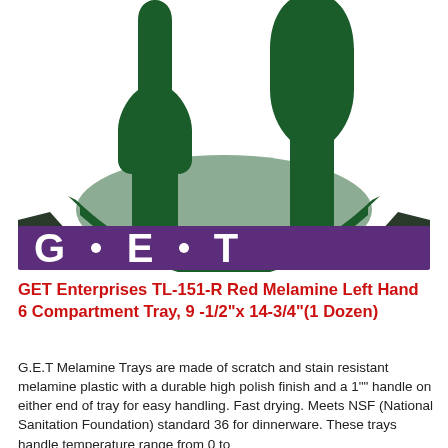[Figure (logo): GET Enterprises logo: green fork/spoon icon above a purple banner with white bold letters G·E·T]
GET Enterprises TL-151-R Red Melamine Left Hand 6 Compartment Tray, 9 -1/2"x 14-3/4"(1 Dozen)
G.E.T Melamine Trays are made of scratch and stain resistant melamine plastic with a durable high polish finish and a 1"" handle on either end of tray for easy handling. Fast drying. Meets NSF (National Sanitation Foundation) standard 36 for dinnerware. These trays handle temperature range from 0 to